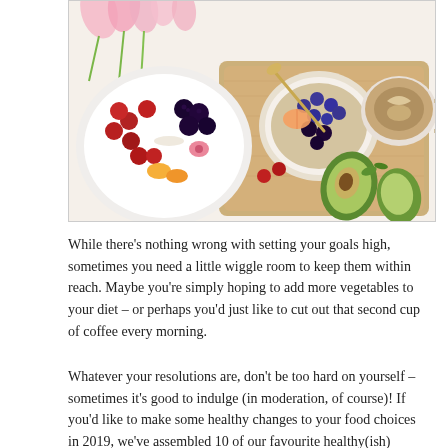[Figure (photo): Overhead flat-lay photo of healthy food: a large plate with colorful fruits (cherries, blackberries, oranges, watermelon radish), a wooden cutting board with a bowl of oatmeal topped with blueberries and cherries, a cup of coffee with latte art, an avocado cut in half, and pink tulips in the background.]
While there's nothing wrong with setting your goals high, sometimes you need a little wiggle room to keep them within reach. Maybe you're simply hoping to add more vegetables to your diet – or perhaps you'd just like to cut out that second cup of coffee every morning.
Whatever your resolutions are, don't be too hard on yourself – sometimes it's good to indulge (in moderation, of course)! If you'd like to make some healthy changes to your food choices in 2019, we've assembled 10 of our favourite healthy(ish)